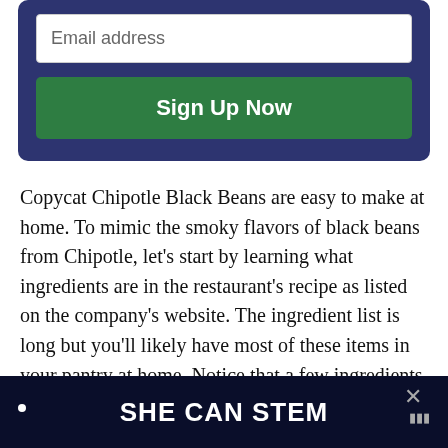[Figure (screenshot): Email signup form with a white email address input field and a green 'Sign Up Now' button on a dark navy blue background]
Copycat Chipotle Black Beans are easy to make at home. To mimic the smoky flavors of black beans from Chipotle, let's start by learning what ingredients are in the restaurant's recipe as listed on the company's website. The ingredient list is long but you'll likely have most of these items in your pantry at home. Notice that a few ingredients like bay leaf and chipotle will take your black beans from average to something special.
[Figure (screenshot): Dark advertisement banner with white bold text 'SHE CAN STEM', a close X button and a logo on the right side]